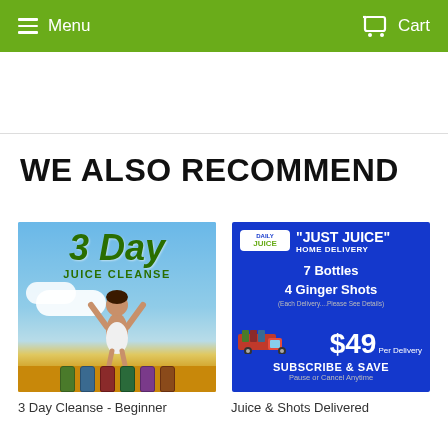Menu  Cart
WE ALSO RECOMMEND
[Figure (photo): 3 Day Juice Cleanse product image showing woman with arms raised against blue sky, with juice bottles at bottom]
[Figure (photo): Just Juice Home Delivery promotional image on blue background showing Daily Juice logo, text: 7 Bottles, 4 Ginger Shots, Each Delivery....Please See Details, $49 Per Delivery, Subscribe & Save, Pause or Cancel Anytime]
3 Day Cleanse - Beginner
Juice & Shots Delivered